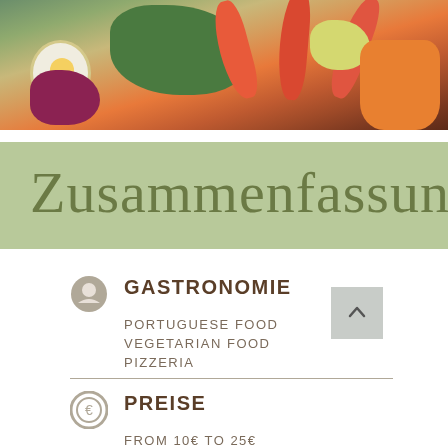[Figure (photo): Photo of a seafood and salad dish with shrimp, lettuce, red cabbage, egg, lemon, and carrots on a plate]
Zusammenfassung
GASTRONOMIE
PORTUGUESE FOOD
VEGETARIAN FOOD
PIZZERIA
PREISE
FROM 10€ TO 25€